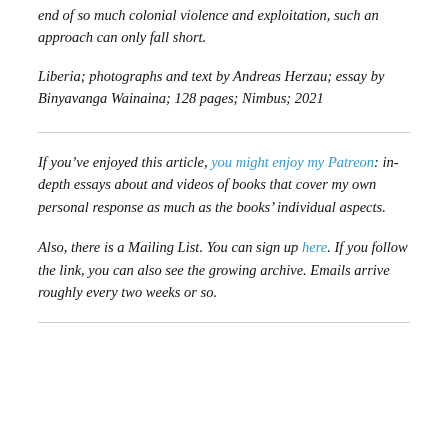end of so much colonial violence and exploitation, such an approach can only fall short.
Liberia; photographs and text by Andreas Herzau; essay by Binyavanga Wainaina; 128 pages; Nimbus; 2021
If you’ve enjoyed this article, you might enjoy my Patreon: in-depth essays about and videos of books that cover my own personal response as much as the books’ individual aspects.
Also, there is a Mailing List. You can sign up here. If you follow the link, you can also see the growing archive. Emails arrive roughly every two weeks or so.